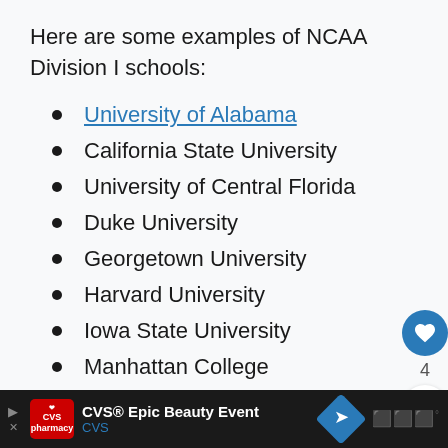Here are some examples of NCAA Division I schools:
University of Alabama
California State University
University of Central Florida
Duke University
Georgetown University
Harvard University
Iowa State University
Manhattan College
Michigan State University
Princeton University
CVS® Epic Beauty Event CVS